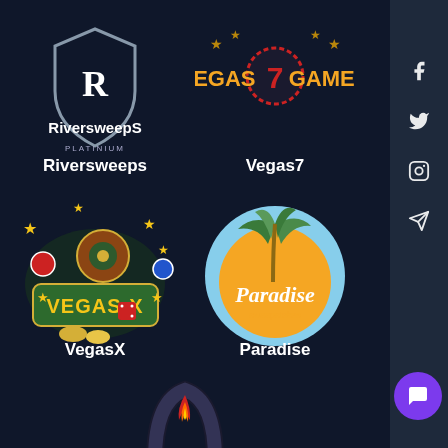[Figure (logo): Riversweeps Platinium logo - shield with R and text RiversweepS PLATINIUM]
Riversweeps
[Figure (logo): Vegas 7 Games logo with stars and roulette wheel number 7]
Vegas7
[Figure (logo): Vegas-X logo with casino chips, dice, playing cards, roulette wheel]
VegasX
[Figure (logo): Paradise Sweepstakes logo - orange circle with palm tree and script text]
Paradise
[Figure (logo): Partially visible flame/fire logo at the bottom center]
[Figure (other): Side panel with Facebook, Twitter, Instagram, Telegram icons and purple chat button]